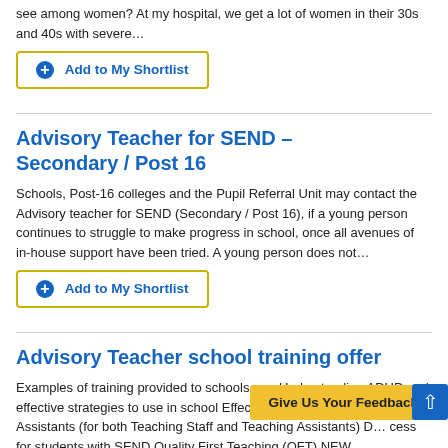see among women? At my hospital, we get a lot of women in their 30s and 40s with severe…
Add to My Shortlist
Advisory Teacher for SEND – Secondary / Post 16
Schools, Post-16 colleges and the Pupil Referral Unit may contact the Advisory teacher for SEND (Secondary / Post 16), if a young person continues to struggle to make progress in school, once all avenues of in-house support have been tried. A young person does not…
Add to My Shortlist
Advisory Teacher school training offer
Examples of training provided to schools are: Understanding ADHD and effective strategies to use in school Effective deployment of Teaching Assistants (for both Teaching Staff and Teaching Assistants) D… cess for students with SEND Quality First Teaching (QFT) NEW
Give Us Your Feedback